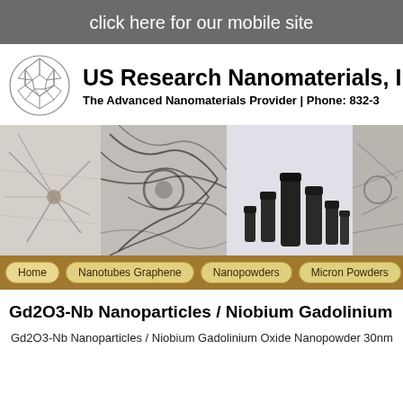click here for our mobile site
[Figure (logo): US Research Nanomaterials, Inc. logo with buckminsterfullerene sphere graphic and company name]
[Figure (photo): Banner strip showing four panels: microscope image of nanomaterial network, dark nanotube/graphene strands, dark plastic laboratory bottles of various sizes, and another microscope image of nanomaterial]
Home | Nanotubes Graphene | Nanopowders | Micron Powders | Disp
Gd2O3-Nb Nanoparticles / Niobium Gadolinium Oxide Na
Gd2O3-Nb Nanoparticles / Niobium Gadolinium Oxide Nanopowder 30nm 99.9%